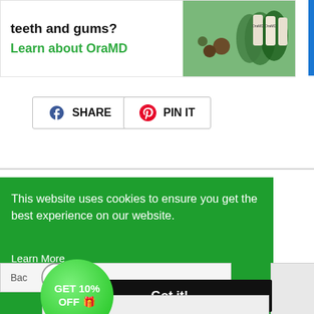[Figure (photo): OraMD product banner showing bottles of tooth oil with green plants and nuts, with headline 'teeth and gums? Learn about OraMD']
SHARE
PIN IT
This website uses cookies to ensure you get the best experience on our website.
Learn More
Back
Got it!
GET 10% OFF 🎁